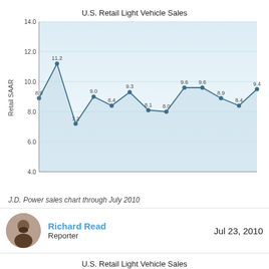[Figure (line-chart): U.S. Retail Light Vehicle Sales]
J.D. Power sales chart through July 2010
Richard Read
Reporter
Jul 23, 2010
[Figure (line-chart): Partial view of chart, cropped at top]